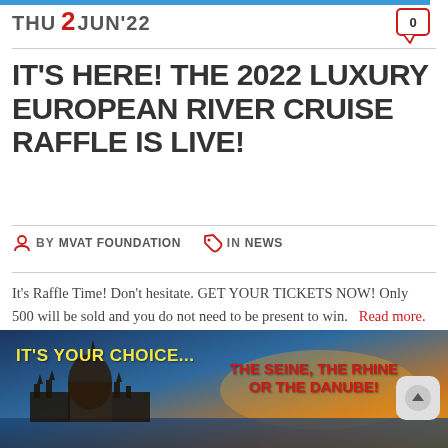THU 2 JUN'22
IT'S HERE! THE 2022 LUXURY EUROPEAN RIVER CRUISE RAFFLE IS LIVE!
BY MVAT FOUNDATION  IN NEWS
It's Raffle Time! Don't hesitate. GET YOUR TICKETS NOW! Only 500 will be sold and you do not need to be present to win.  Read more.
[Figure (photo): Banner image showing a European river scene with domed building/parliament, sunset sky. Text overlay: IT'S YOUR CHOICE... THE SEINE, THE RHINE OR THE DANUBE!]